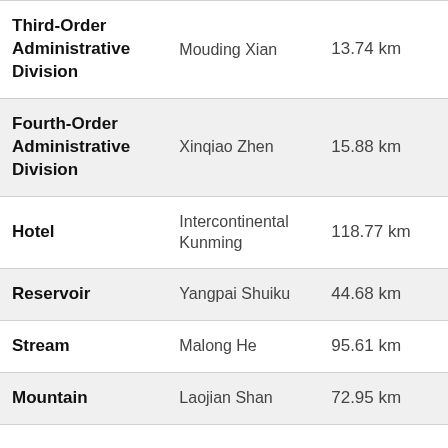| Category | Name | Distance |
| --- | --- | --- |
| Third-Order Administrative Division | Mouding Xian | 13.74 km |
| Fourth-Order Administrative Division | Xinqiao Zhen | 15.88 km |
| Hotel | Intercontinental Kunming | 118.77 km |
| Reservoir | Yangpai Shuiku | 44.68 km |
| Stream | Malong He | 95.61 km |
| Mountain | Laojian Shan | 72.95 km |